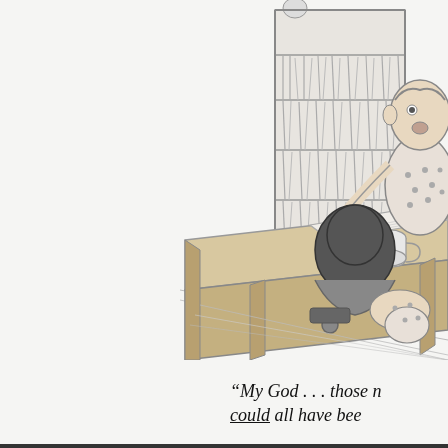[Figure (illustration): A black-and-white pen-and-ink cartoon illustration showing a scene in an office. A heavyset person sits behind a large wooden desk. Behind them is a tall bookshelf filled with various tools and instruments. On the desk is a coffee mug and an open book or laptop. A person with dark hair is seated or standing in front of the desk. The lower half of another figure is visible under the desk. The scene is drawn in a classic New Yorker cartoon style.]
“My God . . . those n could all have bee